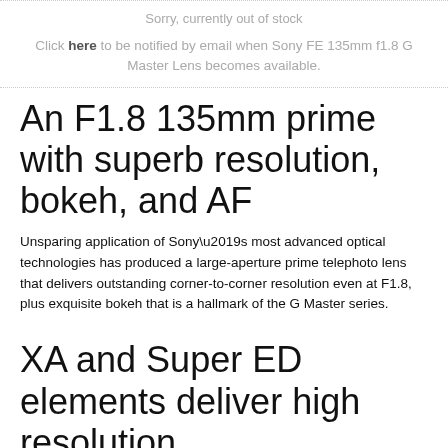Sorry, currently out of stock
Click here to be notified by email when Sony FE 135mm f1.8 G Master Lens becomes available.
An F1.8 135mm prime with superb resolution, bokeh, and AF
Unsparing application of Sony’s most advanced optical technologies has produced a large-aperture prime telephoto lens that delivers outstanding corner-to-corner resolution even at F1.8, plus exquisite bokeh that is a hallmark of the G Master series.
XA and Super ED elements deliver high resolution